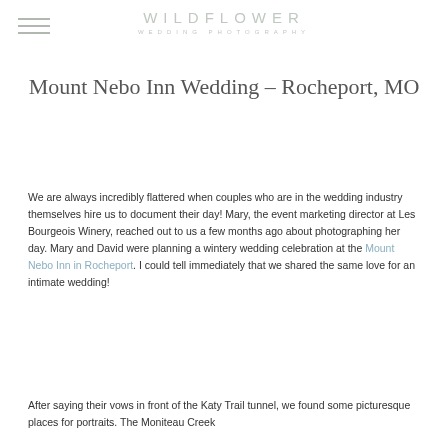WILDFLOWER WEDDING PHOTOGRAPHY
Mount Nebo Inn Wedding – Rocheport, MO
We are always incredibly flattered when couples who are in the wedding industry themselves hire us to document their day! Mary, the event marketing director at Les Bourgeois Winery, reached out to us a few months ago about photographing her day. Mary and David were planning a wintery wedding celebration at the Mount Nebo Inn in Rocheport. I could tell immediately that we shared the same love for an intimate wedding!
After saying their vows in front of the Katy Trail tunnel, we found some picturesque places for portraits. The Moniteau Creek